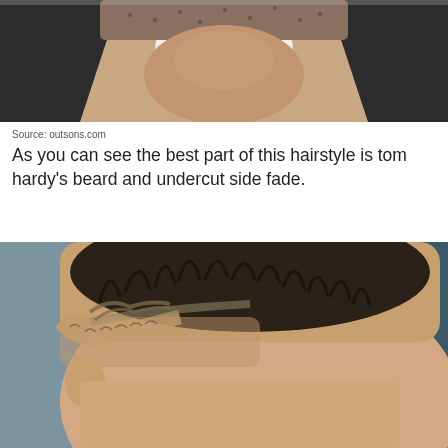[Figure (photo): Close-up photo of a man's neck and lower face area showing a beard, white collar shirt, and dark suit jacket with tie]
Source: outsons.com
As you can see the best part of this hairstyle is tom hardy's beard and undercut side fade.
[Figure (photo): Close-up side/back view of a man's head showing a short undercut hairstyle with side fade, dark hair on top fading shorter on the sides]